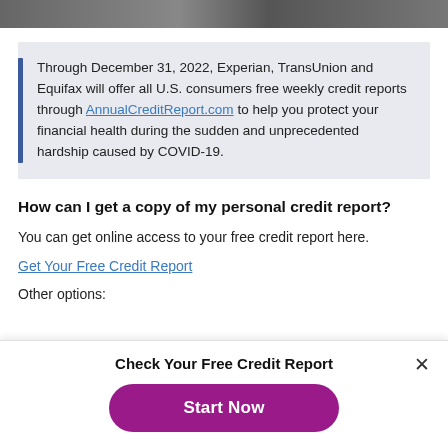[Figure (photo): Top portion of a photo strip, partially visible at the top of the page.]
Through December 31, 2022, Experian, TransUnion and Equifax will offer all U.S. consumers free weekly credit reports through AnnualCreditReport.com to help you protect your financial health during the sudden and unprecedented hardship caused by COVID-19.
How can I get a copy of my personal credit report?
You can get online access to your free credit report here.
Get Your Free Credit Report
Other options:
Check Your Free Credit Report
Start Now